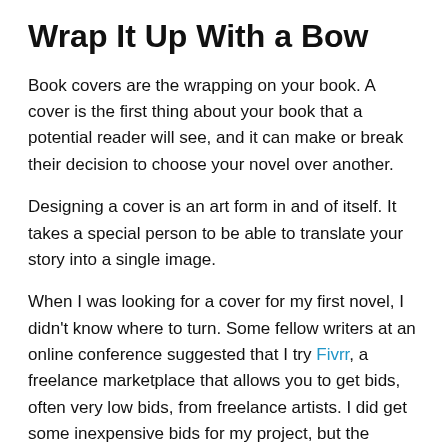Wrap It Up With a Bow
Book covers are the wrapping on your book. A cover is the first thing about your book that a potential reader will see, and it can make or break their decision to choose your novel over another.
Designing a cover is an art form in and of itself. It takes a special person to be able to translate your story into a single image.
When I was looking for a cover for my first novel, I didn't know where to turn. Some fellow writers at an online conference suggested that I try Fivrr, a freelance marketplace that allows you to get bids, often very low bids, from freelance artists. I did get some inexpensive bids for my project, but the artists' styles didn't match with